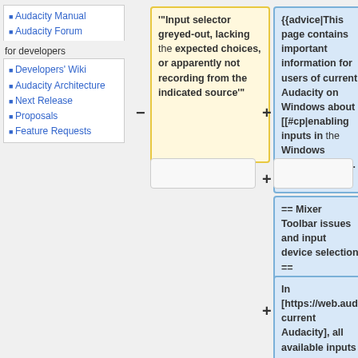Audacity Manual
Audacity Forum
for developers
Developers' Wiki
Audacity Architecture
Next Release
Proposals
Feature Requests
'"Input selector greyed-out, lacking the expected choices, or apparently not recording from the indicated source'"
{{advice|This page contains important information for users of current Audacity on Windows about [[#cp|enabling inputs in the Windows Control Panel]]. }}
== Mixer Toolbar issues and input device selection ==
In [https://web.audacityteam.org/download/ current Audacity], all available inputs are selected in